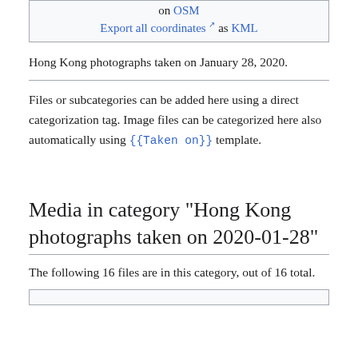on OSM
Export all coordinates ↗ as KML
Hong Kong photographs taken on January 28, 2020.
Files or subcategories can be added here using a direct categorization tag. Image files can be categorized here also automatically using {{Taken on}} template.
Media in category "Hong Kong photographs taken on 2020-01-28"
The following 16 files are in this category, out of 16 total.